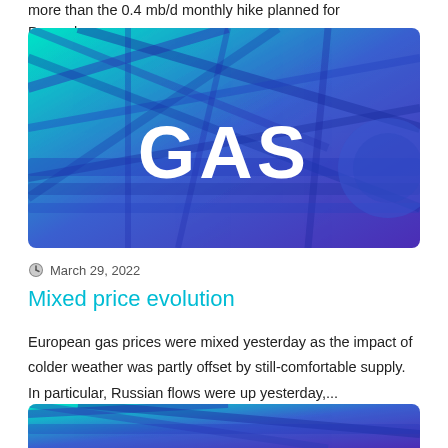more than the 0.4 mb/d monthly hike planned for December....
[Figure (photo): Industrial gas infrastructure with blue-green gradient overlay and large white text 'GAS' overlaid in the center]
March 29, 2022
Mixed price evolution
European gas prices were mixed yesterday as the impact of colder weather was partly offset by still-comfortable supply. In particular, Russian flows were up yesterday,...
[Figure (photo): Bottom portion of another article image showing industrial infrastructure with blue-green gradient, partially visible]